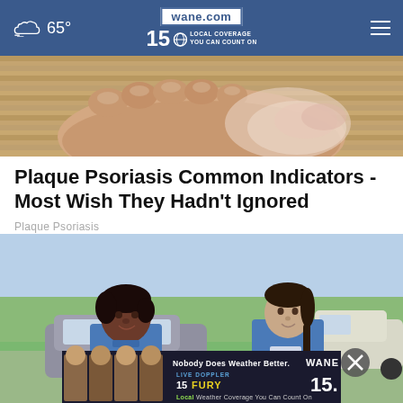wane.com | 15 LOCAL COVERAGE YOU CAN COUNT ON | 65°
[Figure (photo): Close-up photo of a human foot/heel showing skin condition on wooden surface]
Plaque Psoriasis Common Indicators - Most Wish They Hadn't Ignored
Plaque Psoriasis
[Figure (photo): Two women in blue uniforms standing outdoors in a residential neighborhood with cars in the background. An advertisement banner overlays the bottom: 'Nobody Does Weather Better. WANE 15 LIVE DOPPLER 15 FURY Local Weather Coverage You Can Count On']